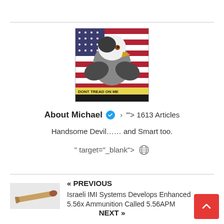[Figure (photo): Profile image showing a bald eagle in front of an American flag with a 'DONT TREAD ON ME' banner at the bottom]
About Michael ✓ > '"> 1613 Articles
Handsome Devil…… and Smart too.
" target="_blank"> 🌐
« PREVIOUS
[Figure (photo): Bullet/ammunition cartridge photo]
Israeli IMI Systems Develops Enhanced 5.56x Ammunition Called 5.56APM
NEXT »